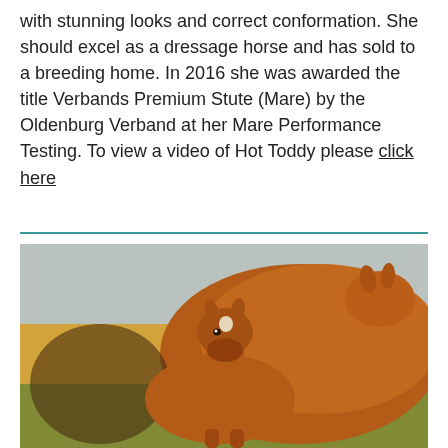with stunning looks and correct conformation. She should excel as a dressage horse and has sold to a breeding home. In 2016 she was awarded the title Verbands Premium Stute (Mare) by the Oldenburg Verband at her Mare Performance Testing. To view a video of Hot Toddy please click here
[Figure (photo): A chestnut foal standing in front of a chestnut mare in a field. The foal has a white star on its forehead and is facing the camera. The background shows golden grasses and green vegetation under warm sunlight.]